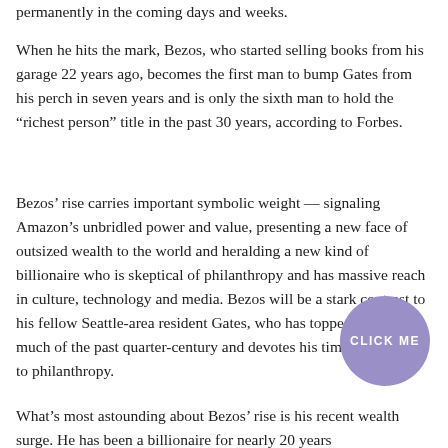permanently in the coming days and weeks.
When he hits the mark, Bezos, who started selling books from his garage 22 years ago, becomes the first man to bump Gates from his perch in seven years and is only the sixth man to hold the 'richest person' title in the past 30 years, according to Forbes.
Bezos' rise carries important symbolic weight — signaling Amazon's unbridled power and value, presenting a new face of outsized wealth to the world and heralding a new kind of billionaire who is skeptical of philanthropy and has massive reach in culture, technology and media. Bezos will be a stark contrast to his fellow Seattle-area resident Gates, who has topped the list for much of the past quarter-century and devotes his time and money to philanthropy.
What's most astounding about Bezos' rise is his recent wealth surge. He has been a billionaire for nearly 20 years